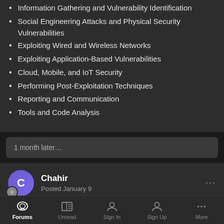Information Gathering and Vulnerability Identification
Social Engineering Attacks and Physical Security Vulnerabilities
Exploiting Wired and Wireless Networks
Exploiting Application-Based Vulnerabilities
Cloud, Mobile, and IoT Security
Performing Post-Exploitation Techniques
Reporting and Communication
Tools and Code Analysis
1 month later…
Chahir
Posted January 9